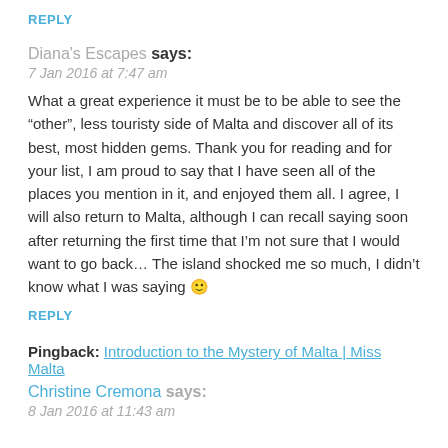REPLY
Diana's Escapes says:
7 Jan 2016 at 7:47 am
What a great experience it must be to be able to see the “other”, less touristy side of Malta and discover all of its best, most hidden gems. Thank you for reading and for your list, I am proud to say that I have seen all of the places you mention in it, and enjoyed them all. I agree, I will also return to Malta, although I can recall saying soon after returning the first time that I’m not sure that I would want to go back… The island shocked me so much, I didn’t know what I was saying 🙂
REPLY
Pingback: Introduction to the Mystery of Malta | Miss Malta
Christine Cremona says:
8 Jan 2016 at 11:43 am